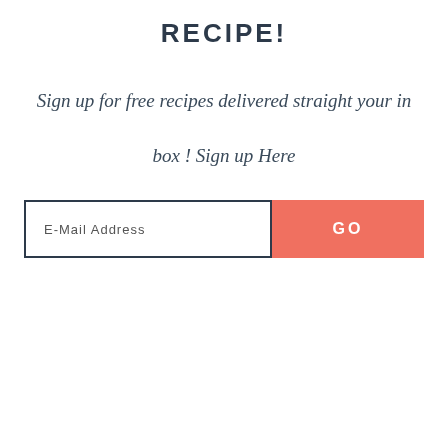RECIPE!
Sign up for free recipes delivered straight your in box ! Sign up Here
[Figure (other): Email sign-up form with an E-Mail Address input field and a coral GO button]